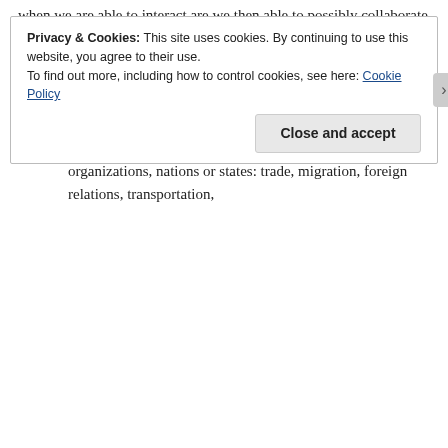when we are able to interact are we then able to possibly collaborate and do deals.
Interacting.  Hmmm, that's an Interesting word  we find there, shall we dive a bit deeper… and find out what that word actually means?
communication of any sort, for example two or more people talking to each other, or communication among groups, organizations, nations or states: trade, migration, foreign relations, transportation,
Privacy & Cookies: This site uses cookies. By continuing to use this website, you agree to their use.
To find out more, including how to control cookies, see here: Cookie Policy